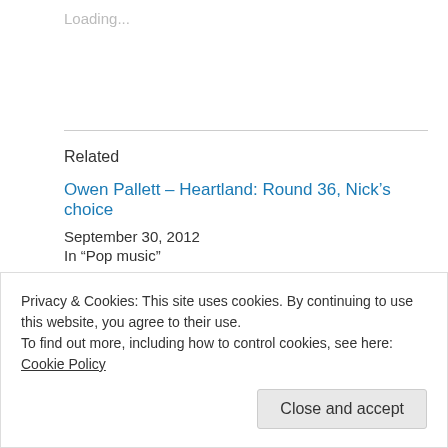Loading...
Related
Owen Pallett – Heartland: Round 36, Nick's choice
September 30, 2012
In "Pop music"
Poliça – 'Give You The Ghost': Round 54 – Rob's choice
October 3, 2013
In "Pop music"
Privacy & Cookies: This site uses cookies. By continuing to use this website, you agree to their use.
To find out more, including how to control cookies, see here: Cookie Policy
Close and accept